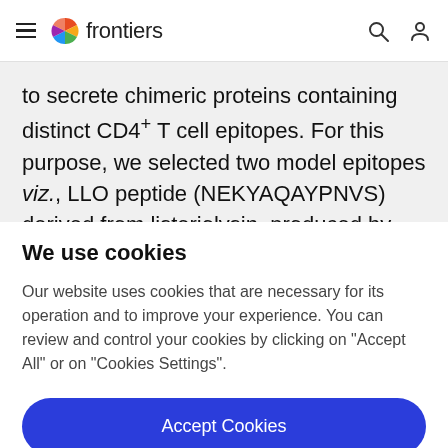frontiers
to secrete chimeric proteins containing distinct CD4+ T cell epitopes. For this purpose, we selected two model epitopes viz., LLO peptide (NEKYAQAYPNVS) derived from listeriolysin, produced by the bacterium Listeria
We use cookies
Our website uses cookies that are necessary for its operation and to improve your experience. You can review and control your cookies by clicking on "Accept All" or on "Cookies Settings".
Accept Cookies
Cookies Settings